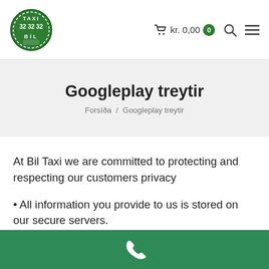[Figure (logo): Bil Taxi 32 32 32 circular green logo]
kr. 0,00  0
Googleplay treytir
Forsíða / Googleplay treytir
At Bil Taxi we are committed to protecting and respecting our customers privacy
• All information you provide to us is stored on our secure servers.
• We collect any information provided by you regarding